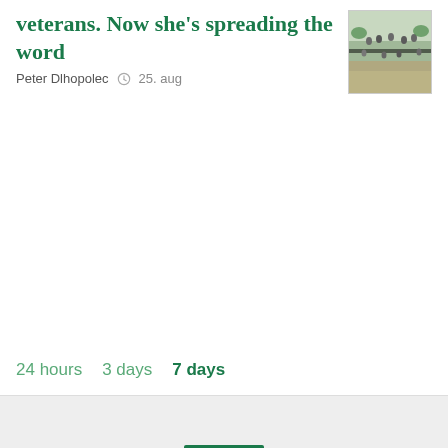veterans. Now she's spreading the word
Peter Dlhopolec  25. aug
[Figure (photo): Thumbnail photo of people outdoors, appears to show a group gathering or event in a public space.]
24 hours   3 days   7 days